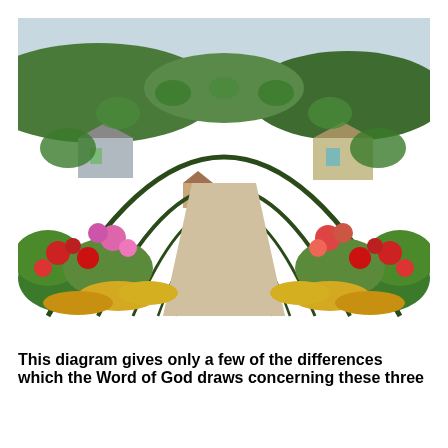[Figure (photo): A garden pathway lined with colorful flowers (red, pink, yellow) and arched trellises covered in greenery, leading toward a house in the background. The scene resembles Monet's garden at Giverny.]
This diagram gives only a few of the differences which the Word of God draws concerning these three